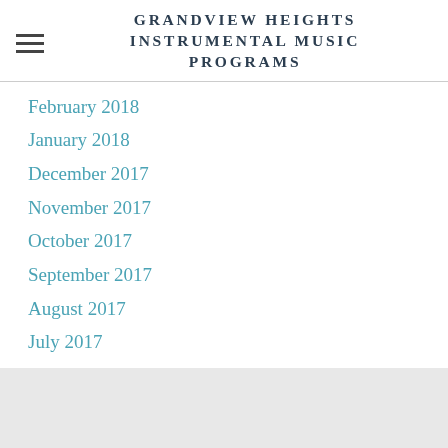GRANDVIEW HEIGHTS INSTRUMENTAL MUSIC PROGRAMS
February 2018
January 2018
December 2017
November 2017
October 2017
September 2017
August 2017
July 2017
June 2017
RSS Feed